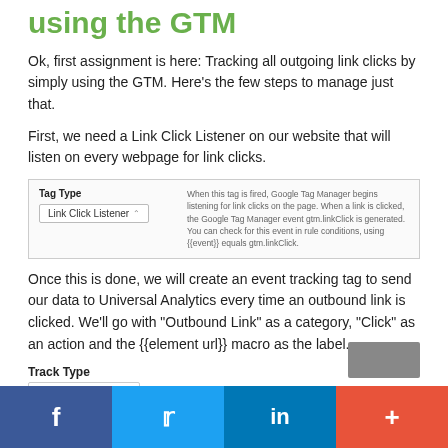using the GTM
Ok, first assignment is here: Tracking all outgoing link clicks by simply using the GTM. Here's the few steps to manage just that.
First, we need a Link Click Listener on our website that will listen on every webpage for link clicks.
[Figure (screenshot): Screenshot showing Tag Type field with 'Link Click Listener' dropdown selected, and description text about GTM link click listening behavior]
Once this is done, we will create an event tracking tag to send our data to Universal Analytics every time an outbound link is clicked. We'll go with "Outbound Link" as a category, "Click" as an action and the {{element url}} macro as the label.
[Figure (screenshot): Screenshot showing Track Type field with 'Event' dropdown]
[Figure (screenshot): Gray button partially visible at bottom right]
f  Twitter  in  +